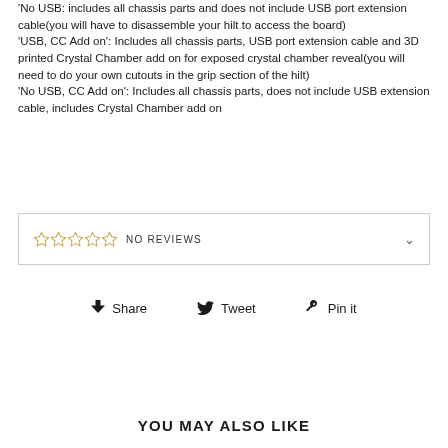'No USB: includes all chassis parts and does not include USB port extension cable(you will have to disassemble your hilt to access the board)
'USB, CC Add on': Includes all chassis parts, USB port extension cable and 3D printed Crystal Chamber add on for exposed crystal chamber reveal(you will need to do your own cutouts in the grip section of the hilt)
'No USB, CC Add on': Includes all chassis parts, does not include USB extension cable, includes Crystal Chamber add on
[Figure (other): Star rating widget showing 5 empty gold stars with 'NO REVIEWS' text and a chevron/dropdown arrow]
Share   Tweet   Pin it
YOU MAY ALSO LIKE